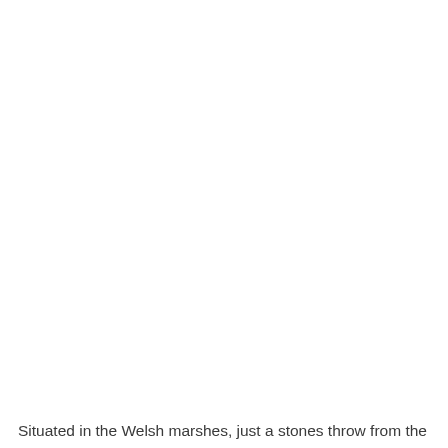Situated in the Welsh marshes, just a stones throw from the